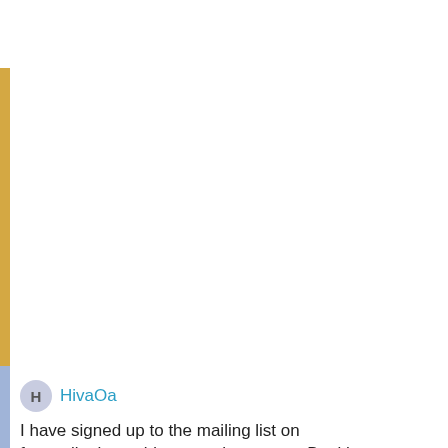HivaOa
I have signed up to the mailing list on farewelltotheworld.com at the startup. But i have received any mails from this. And you 😟
8/30/06 @ 12:53 PM
0
Steve W
quote:
Originally posted by HivaOa: